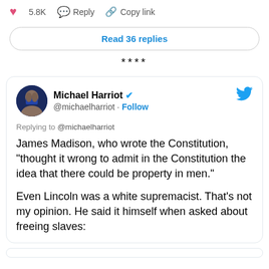♥ 5.8K   Reply   Copy link
Read 36 replies
****
Michael Harriot @michaelharriot · Follow
Replying to @michaelharriot
James Madison, who wrote the Constitution, "thought it wrong to admit in the Constitution the idea that there could be property in men."

Even Lincoln was a white supremacist. That's not my opinion. He said it himself when asked about freeing slaves: